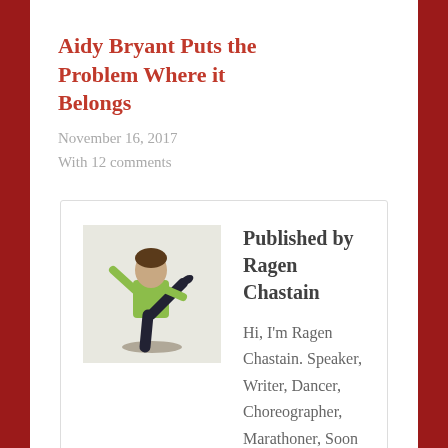Aidy Bryant Puts the Problem Where it Belongs
November 16, 2017
With 12 comments
Published by Ragen Chastain
[Figure (photo): Photo of Ragen Chastain, a dancer, posing with one leg raised in a dance pose, wearing a green top and dark pants, on a light background.]
Hi, I'm Ragen Chastain. Speaker, Writer, Dancer, Choreographer, Marathoner, Soon to be Iron-distance triathlete, Activist, Fat Person.
View all posts by Ragen